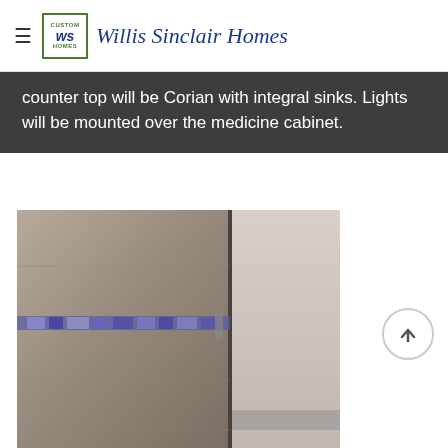Willis Sinclair Homes
Counter top will be Corian with integral sinks. Lights will be mounted over the medicine cabinet.
[Figure (photo): Interior bathroom photo showing a shower area with stone/tile walls and a decorative mosaic accent tile band. A door frame divider separates the shower from an adjacent lighter area.]